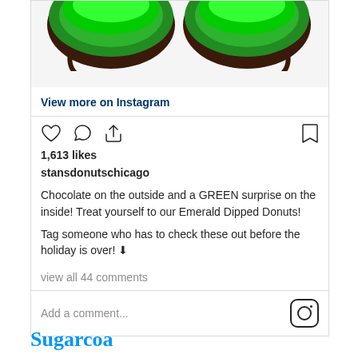[Figure (photo): Top portion of Instagram post showing green-frosted chocolate donuts on white background, cropped at top]
View more on Instagram
[Figure (other): Instagram action icons: heart (like), comment bubble, share/upload arrow on left; bookmark on right]
1,613 likes
stansdonutschicago Chocolate on the outside and a GREEN surprise on the inside! Treat yourself to our Emerald Dipped Donuts!

Tag someone who has to check these out before the holiday is over! ⬇
view all 44 comments
Add a comment...
Sugarcoa